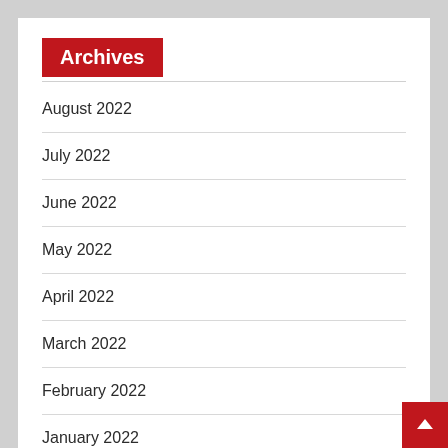Archives
August 2022
July 2022
June 2022
May 2022
April 2022
March 2022
February 2022
January 2022